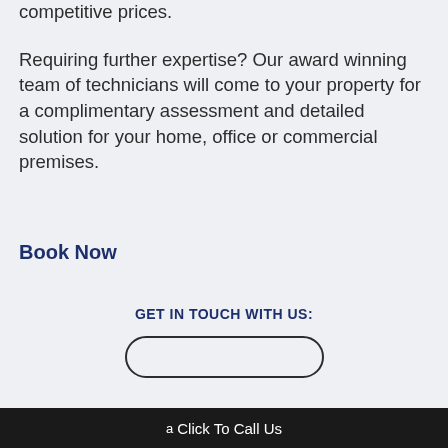competitive prices.
Requiring further expertise? Our award winning team of technicians will come to your property for a complimentary assessment and detailed solution for your home, office or commercial premises.
Book Now
GET IN TOUCH WITH US:
a Click To Call Us